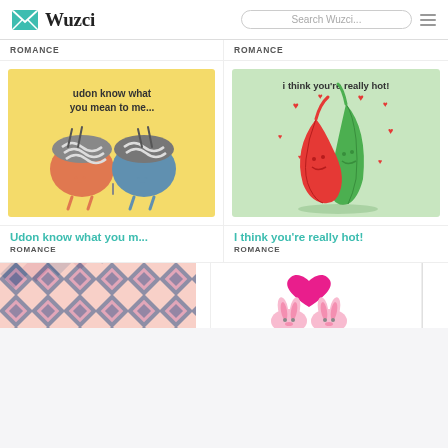Wuzci — Search Wuzci...
ROMANCE
ROMANCE
[Figure (illustration): Greeting card with two cute cartoon noodle bowl characters facing each other with text 'udon know what you mean to me...' on yellow background]
[Figure (illustration): Greeting card with cartoon red and green chilli pepper characters hugging with red hearts and text 'i think you're really hot!' on mint green background]
Udon know what you m...
ROMANCE
I think you're really hot!
ROMANCE
[Figure (illustration): Partial greeting card with floral/geometric pattern in pink and blue/navy]
[Figure (illustration): Partial greeting card with two cute bunny characters with a pink heart above them]